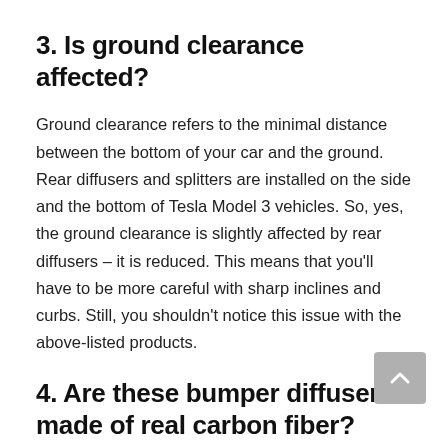3. Is ground clearance affected?
Ground clearance refers to the minimal distance between the bottom of your car and the ground. Rear diffusers and splitters are installed on the side and the bottom of Tesla Model 3 vehicles. So, yes, the ground clearance is slightly affected by rear diffusers – it is reduced. This means that you'll have to be more careful with sharp inclines and curbs. Still, you shouldn't notice this issue with the above-listed products.
4. Are these bumper diffusers made of real carbon fiber?